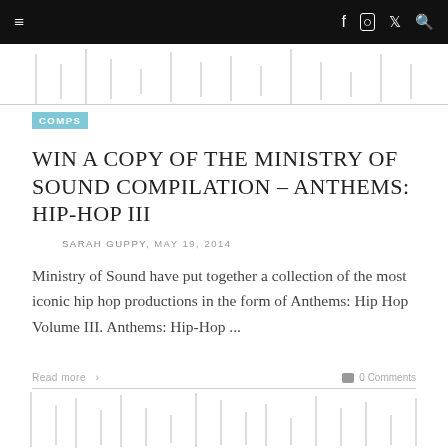≡  f  ○  🐦  🔍
[Figure (other): Audio waveform decoration at top of page, light gray vertical bars on white background]
COMPS
WIN A COPY OF THE MINISTRY OF SOUND COMPILATION – ANTHEMS: HIP-HOP III
SARAH GUPPY, MAY 19, 2014
Ministry of Sound have put together a collection of the most iconic hip hop productions in the form of Anthems: Hip Hop Volume III. Anthems: Hip-Hop ...
Read more >
0 Comments
[Figure (other): Audio waveform decoration at bottom of page, light gray vertical bars on white background]